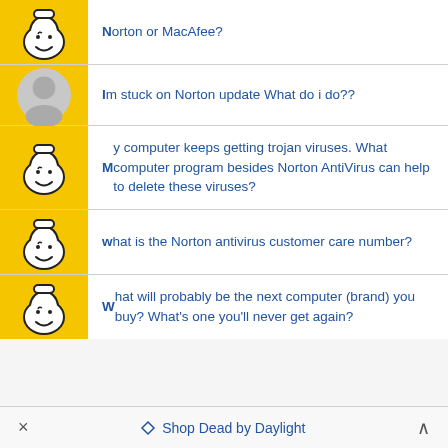Norton or MacAfee?
I m stuck on Norton update What do i do??
My computer keeps getting trojan viruses. What computer program besides Norton AntiVirus can help to delete these viruses?
what is the Norton antivirus customer care number?
What will probably be the next computer (brand) you buy? What's one you'll never get again?
× Shop Dead by Daylight ^